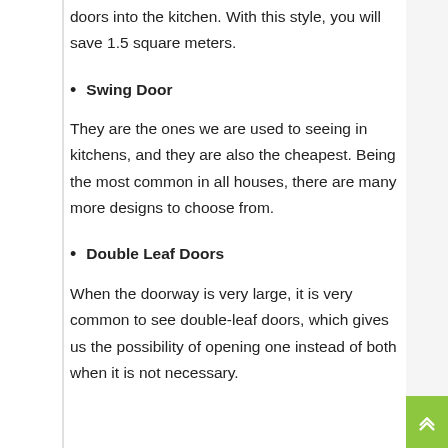doors into the kitchen. With this style, you will save 1.5 square meters.
Swing Door
They are the ones we are used to seeing in kitchens, and they are also the cheapest. Being the most common in all houses, there are many more designs to choose from.
Double Leaf Doors
When the doorway is very large, it is very common to see double-leaf doors, which gives us the possibility of opening one instead of both when it is not necessary.